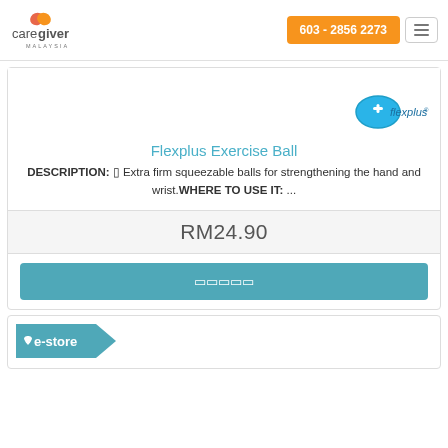caregiver MALAYSIA  603 - 2856 2273
[Figure (logo): Flexplus brand logo — blue oval with white plus sign and 'flexplus' text]
Flexplus Exercise Ball
DESCRIPTION: ▶ Extra firm squeezable balls for strengthening the hand and wrist.WHERE TO USE IT: ...
RM24.90
🛒🛒🛒🛒🛒
[Figure (logo): e-store logo banner in teal with heart icon]